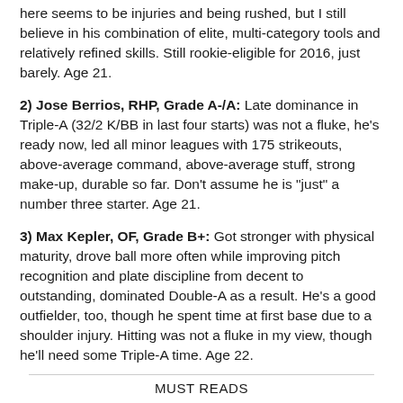here seems to be injuries and being rushed, but I still believe in his combination of elite, multi-category tools and relatively refined skills. Still rookie-eligible for 2016, just barely. Age 21.
2) Jose Berrios, RHP, Grade A-/A: Late dominance in Triple-A (32/2 K/BB in last four starts) was not a fluke, he's ready now, led all minor leagues with 175 strikeouts, above-average command, above-average stuff, strong make-up, durable so far. Don't assume he is "just" a number three starter. Age 21.
3) Max Kepler, OF, Grade B+: Got stronger with physical maturity, drove ball more often while improving pitch recognition and plate discipline from decent to outstanding, dominated Double-A as a result. He's a good outfielder, too, though he spent time at first base due to a shoulder injury. Hitting was not a fluke in my view, though he'll need some Triple-A time. Age 22.
MUST READS